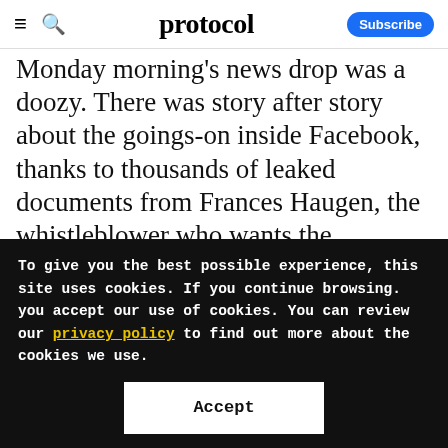protocol — Subscribe
Monday morning's news drop was a doozy. There was story after story about the goings-on inside Facebook, thanks to thousands of leaked documents from Frances Haugen, the whistleblower who wants the information within those files to spread far and wide.
The stories started to publish on Oct. 22, but
To give you the best possible experience, this site uses cookies. If you continue browsing. you accept our use of cookies. You can review our privacy policy to find out more about the cookies we use.
Accept